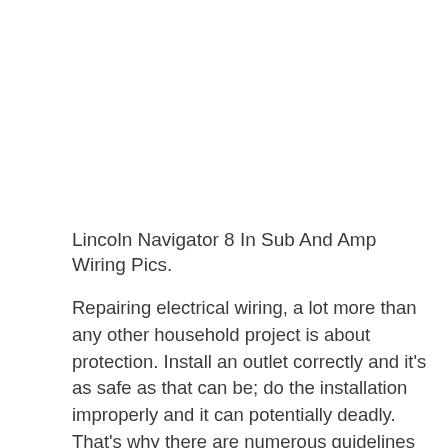Lincoln Navigator 8 In Sub And Amp Wiring Pics.
Repairing electrical wiring, a lot more than any other household project is about protection. Install an outlet correctly and it's as safe as that can be; do the installation improperly and it can potentially deadly. That's why there are numerous guidelines surrounding electrical cabling and installations. The rules can be complicated, for sure, and sometimes